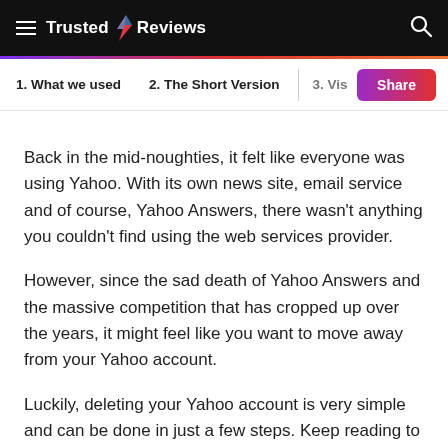Trusted Reviews
1. What we used  2. The Short Version  3. Vis
Back in the mid-noughties, it felt like everyone was using Yahoo. With its own news site, email service and of course, Yahoo Answers, there wasn't anything you couldn't find using the web services provider.
However, since the sad death of Yahoo Answers and the massive competition that has cropped up over the years, it might feel like you want to move away from your Yahoo account.
Luckily, deleting your Yahoo account is very simple and can be done in just a few steps. Keep reading to find out the easiest way to delete your Yahoo account.